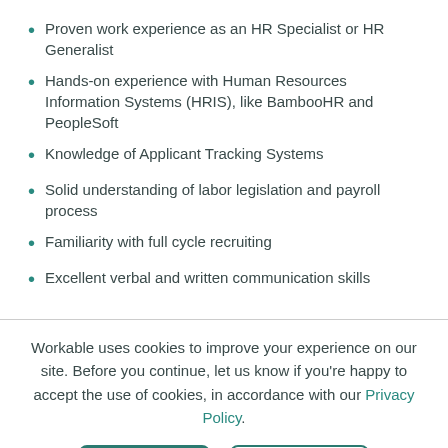Proven work experience as an HR Specialist or HR Generalist
Hands-on experience with Human Resources Information Systems (HRIS), like BambooHR and PeopleSoft
Knowledge of Applicant Tracking Systems
Solid understanding of labor legislation and payroll process
Familiarity with full cycle recruiting
Excellent verbal and written communication skills
Workable uses cookies to improve your experience on our site. Before you continue, let us know if you're happy to accept the use of cookies, in accordance with our Privacy Policy.